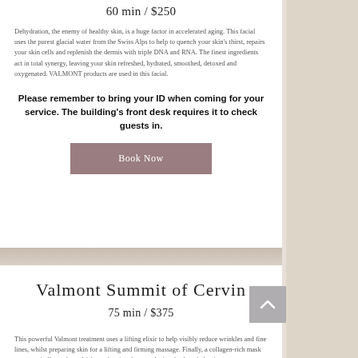60 min / $250
Dehydration, the enemy of healthy skin, is a huge factor in accelerated aging. This facial uses the purest glacial water from the Swiss Alps to help to quench your skin's thirst, repairs your skin cells and replenish the dermis with triple DNA and RNA. The finest ingredients act in total synergy, leaving your skin refreshed, hydrated, smoothed, detoxed and oxygenated. VALMONT products are used in this facial.
Please remember to bring your ID when coming for your service. The building's front desk requires it to check guests in.
[Figure (other): Book Now button with mauve/dusty rose background color]
Valmont Summit of Cervin
75 min / $375
This powerful Valmont treatment uses a lifting elixir to help visibly reduce wrinkles and fine lines, whilst preparing skin for a lifting and firming massage. Finally, a collagen-rich mask restores vitality and youthfulness, leaving the complexion fresh and glowing.